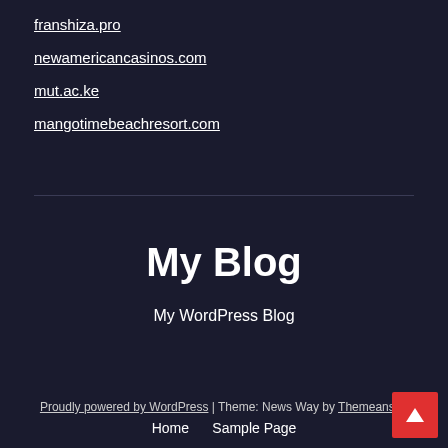franshiza.pro
newamericancasinos.com
mut.ac.ke
mangotimebeachresort.com
My Blog
My WordPress Blog
Proudly powered by WordPress | Theme: News Way by Themeansar.   Home   Sample Page